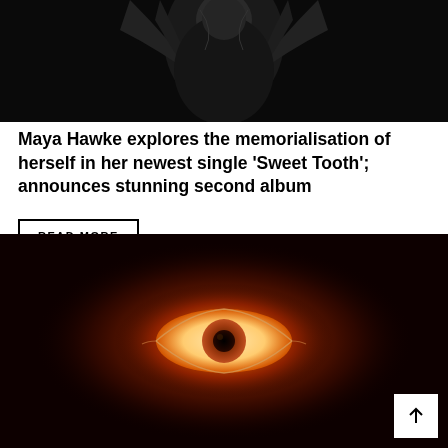[Figure (photo): Black and white photograph, dark artistic image of a figure in upper portion of page]
Maya Hawke explores the memorialisation of herself in her newest single 'Sweet Tooth'; announces stunning second album
READ MORE
[Figure (photo): Dark artistic image with a glowing red and orange eye in the center against a very dark background]